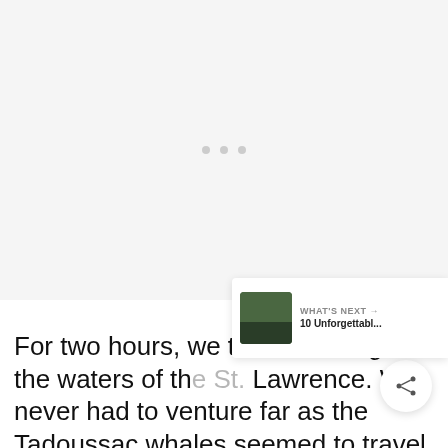[Figure (other): Large image placeholder area with three grey loading dots centered, indicating an image is loading or not displayed]
For two hours, we toured through the waters of the St. Lawrence. We never had to venture far as the Tadoussac whales seemed to travel in bu... our small zodiac. By the end our necks were sore from spinning this way and that as one pod after another